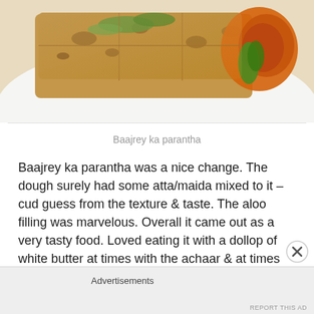[Figure (photo): Close-up photo of Baajrey ka parantha - flatbread with aloo filling, garnished with green herbs and served with a spicy side dish on a white plate]
Baajrey ka parantha
Baajrey ka parantha was a nice change. The dough surely had some atta/maida mixed to it – cud guess from the texture & taste. The aloo filling was marvelous. Overall it came out as a very tasty food. Loved eating it with a dollop of white butter at times with the achaar & at times just as it is.
Advertisements